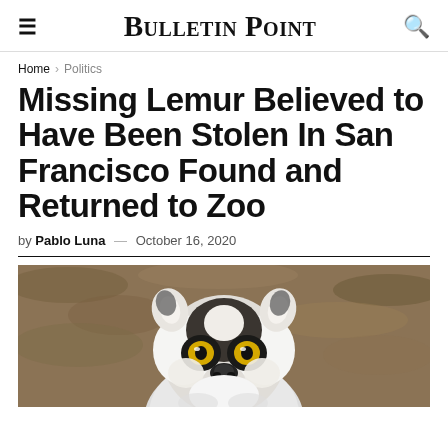Bulletin Point
Home > Politics
Missing Lemur Believed to Have Been Stolen In San Francisco Found and Returned to Zoo
by Pablo Luna — October 16, 2020
[Figure (photo): A ring-tailed lemur with distinctive large yellow eyes and black-and-white facial markings, looking directly at the camera, photographed against a rocky/earthy background.]